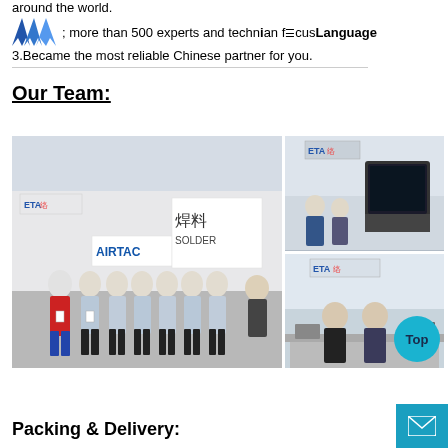around the world.
more than 500 experts and technician focused customers
3.Became the most reliable Chinese partner for you.
Our Team:
[Figure (photo): Three photos: left large photo shows a group of ETA team members (staff in blue uniforms plus one in red) at a trade show booth with AIRTAC and SOLDER signage; top right shows an ETA booth with machinery; bottom right shows ETA booth with two men in suits.]
Packing & Delivery: